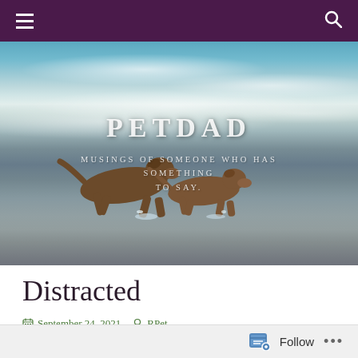Navigation bar with menu and search icons
[Figure (photo): Hero image of two brown dogs running along a beach shoreline with ocean waves in the background. Overlaid text reads PETDAD and MUSINGS OF SOMEONE WHO HAS SOMETHING TO SAY.]
PETDAD
MUSINGS OF SOMEONE WHO HAS SOMETHING TO SAY.
Distracted
September 24, 2021   RPet
Follow ...